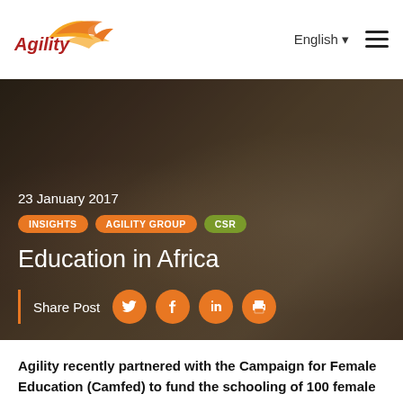Agility | English
[Figure (photo): Three African schoolgirls in pink uniforms sitting against a blue corrugated wall, smiling and chatting outdoors.]
23 January 2017
INSIGHTS  AGILITY GROUP  CSR
Education in Africa
Share Post
Agility recently partnered with the Campaign for Female Education (Camfed) to fund the schooling of 100 female students in rural Ghana in West Africa.